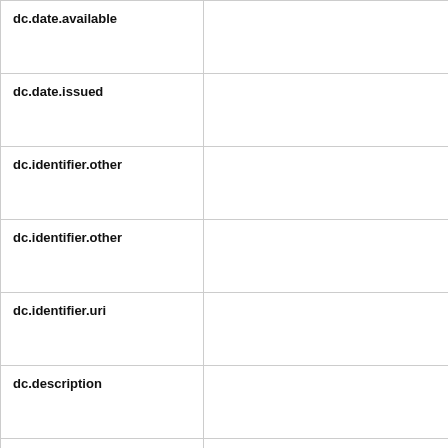| Field | Value |
| --- | --- |
| dc.date.available |  |
| dc.date.issued |  |
| dc.identifier.other |  |
| dc.identifier.other |  |
| dc.identifier.uri |  |
| dc.description |  |
| dc.description.abstract | Staphylococcus simulans bio and it is the only known lys lysostaphin gene (lss) and including the chromosomally enc factor (zif) from Streptococcus e are divergently transcribed and t the hypothesis that zif and zooA equi subsp. zooepidemicus str the zooA - zif locus within the s PFGE and RAPD showed that th... |